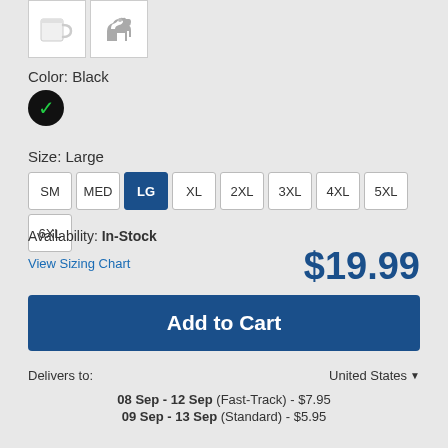[Figure (illustration): Two product thumbnails: a white mug and a dog silhouette icon]
Color: Black
[Figure (other): Black circle with green checkmark indicating selected color Black]
Size: Large
SM  MED  LG (selected)  XL  2XL  3XL  4XL  5XL  6XL
Availability: In-Stock
View Sizing Chart
$19.99
Add to Cart
Delivers to:
United States ▼
08 Sep - 12 Sep (Fast-Track) - $7.95
09 Sep - 13 Sep (Standard) - $5.95